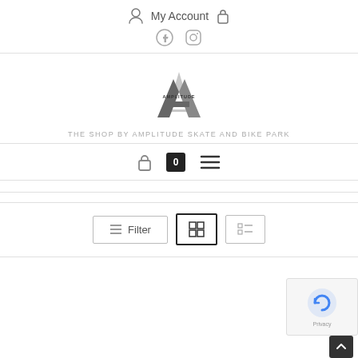My Account
[Figure (logo): Amplitude Skate and Bike Park logo - large stylized A in grey tones with AMPLITUDE text]
THE SHOP BY AMPLITUDE SKATE AND BIKE PARK
[Figure (screenshot): Mobile navigation bar with lock icon, cart badge showing 0, and hamburger menu]
[Figure (screenshot): Filter bar with Filter button, grid view button (active), and list view button]